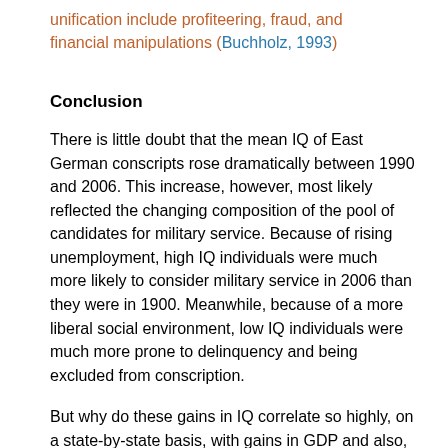unification include profiteering, fraud, and financial manipulations (Buchholz, 1993)
Conclusion
There is little doubt that the mean IQ of East German conscripts rose dramatically between 1990 and 2006. This increase, however, most likely reflected the changing composition of the pool of candidates for military service. Because of rising unemployment, high IQ individuals were much more likely to consider military service in 2006 than they were in 1900. Meanwhile, because of a more liberal social environment, low IQ individuals were much more prone to delinquency and being excluded from conscription.
But why do these gains in IQ correlate so highly, on a state-by-state basis, with gains in GDP and also, to a lesser extent, with gains in education? These high correlations are actually not so surprising given the tight relationship between the positive changes to East German society (rise in GDP